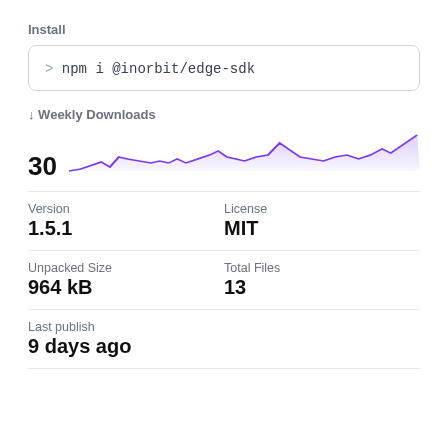Install
> npm i @inorbit/edge-sdk
↓ Weekly Downloads
30
[Figure (continuous-plot): Weekly downloads line/area chart showing download counts over time, purple shaded area with spiked peaks, recent high spike on the right]
Version
1.5.1
License
MIT
Unpacked Size
964 kB
Total Files
13
Last publish
9 days ago